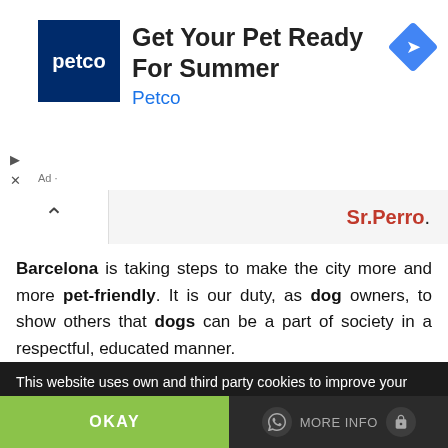[Figure (screenshot): Petco advertisement banner with blue Petco logo, title 'Get Your Pet Ready For Summer', subtitle 'Petco', and a blue navigation arrow icon on the right]
Sr.Perro.
Barcelona is taking steps to make the city more and more pet-friendly. It is our duty, as dog owners, to show others that dogs can be a part of society in a respectful, educated manner.
Be attentive when walking your dog. Don't let it destroy public property, like digging or ripping flowers from public parks, or leave the dogs droppings in a public spaces.
This website uses own and third party cookies to improve your experience and our services, analyzing your navigation. If you continue browsing or click on the "Accept" button, you accept their use. You can prevent its installation, although it may cause navigation difficulties.